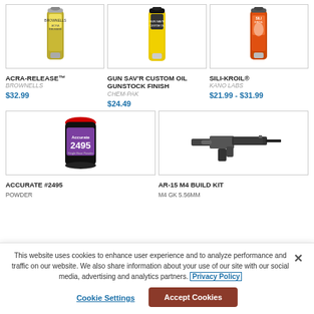[Figure (photo): Spray can of ACRA-RELEASE product by Brownells]
ACRA-RELEASE™
BROWNELLS
$32.99
[Figure (photo): Yellow spray can of GUN SAV'R CUSTOM OIL GUNSTOCK FINISH by Chem-Pak]
GUN SAV'R CUSTOM OIL GUNSTOCK FINISH
CHEM-PAK
$24.49
[Figure (photo): Orange spray can of SILI-KROIL by Kano Labs]
SILI-KROIL®
KANO LABS
$21.99 - $31.99
[Figure (photo): Black canister of Accurate #2495 powder]
ACCURATE #2495 POWDER
[Figure (photo): AR-15 M4 build kit components image]
AR-15 M4 BUILD KIT
M4 GK 5.56MM
This website uses cookies to enhance user experience and to analyze performance and traffic on our website. We also share information about your use of our site with our social media, advertising and analytics partners. Privacy Policy
Cookie Settings
Accept Cookies